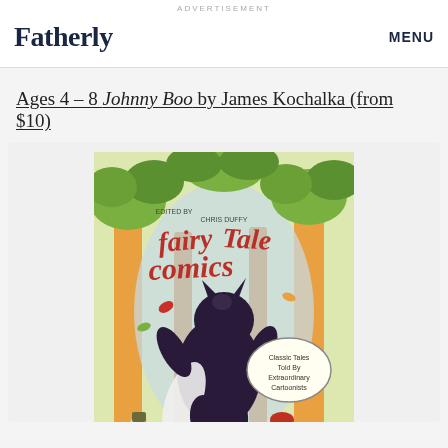ADVERTISEMENT
Fatherly
MENU
Ages 4–8 Johnny Boo by James Kochalka (from $10)
[Figure (photo): Book cover of Fairy Tale Comics showing illustrated fairy tale characters including a large dark wolf/creature and small figures in a forest setting with the subtitle 'Classic Tales Told By Extraordinary Cartoonists']